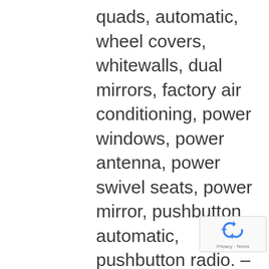quads, automatic, wheel covers, whitewalls, dual mirrors, factory air conditioning, power windows, power antenna, power swivel seats, power mirror, pushbutton automatic, pushbutton radio. – From the John Staluppi Collection. One of only 140 built, AACA Grand National Senior. Numerous show awards to its credit dating back to the early 2000s. Very good paint and brightwork. Perfect clean top. Light wrinkling to the seats but otherwise great interior. Mostly exquisite, but not super fresh and not quite the showstopper it once was. – In 2001 (call it two decades ago) this 300E Convertible sold at Barrett-Jackson for $71,280. At Mecum Indy in 2018 it brought $286,000. It's still in exceptional (if not fresh) condition but this is a huge price for it even at a successful hammer bid $40,000 below what it brought...
[Figure (other): reCAPTCHA privacy badge with recycling arrows logo and 'Privacy - Terms' text]